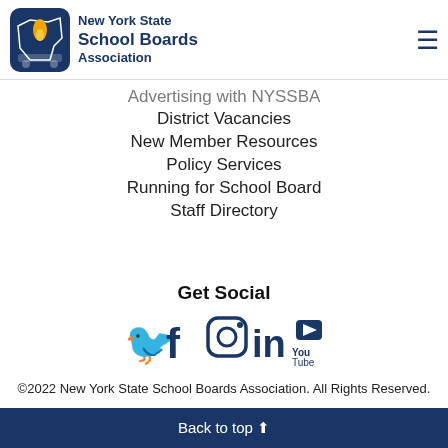[Figure (logo): New York State School Boards Association logo with NY state icon and flame, plus hamburger menu icon]
Advertising with NYSSBA
District Vacancies
New Member Resources
Policy Services
Running for School Board
Staff Directory
Get Social
[Figure (illustration): Social media icons: Twitter, Facebook, Instagram, LinkedIn, YouTube — all in dark navy blue]
©2022 New York State School Boards Association. All Rights Reserved.
Back to top ⬆